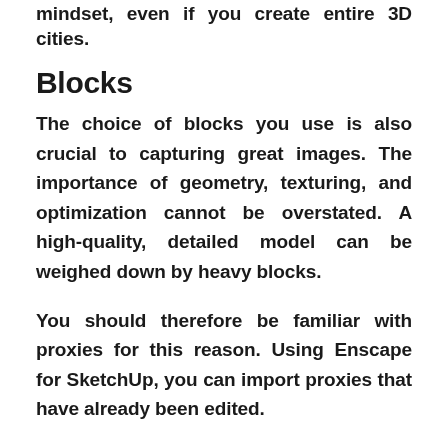mindset, even if you create entire 3D cities.
Blocks
The choice of blocks you use is also crucial to capturing great images. The importance of geometry, texturing, and optimization cannot be overstated. A high-quality, detailed model can be weighed down by heavy blocks.
You should therefore be familiar with proxies for this reason. Using Enscape for SketchUp, you can import proxies that have already been edited.